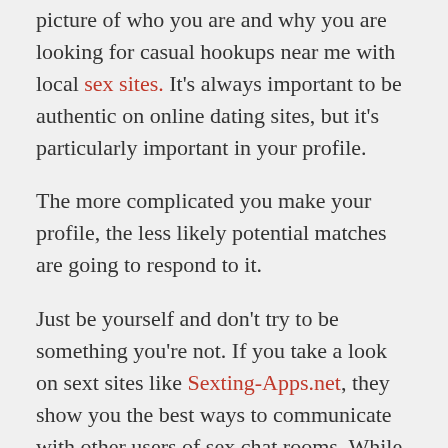picture of who you are and why you are looking for casual hookups near me with local sex sites. It's always important to be authentic on online dating sites, but it's particularly important in your profile.
The more complicated you make your profile, the less likely potential matches are going to respond to it.
Just be yourself and don't try to be something you're not. If you take a look on sext sites like Sexting-Apps.net, they show you the best ways to communicate with other users of sex chat rooms. While it's